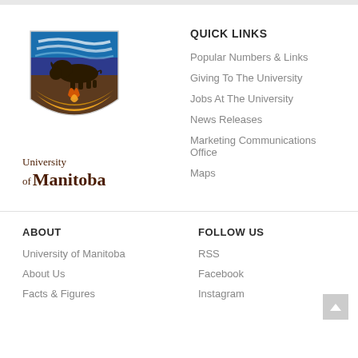[Figure (logo): University of Manitoba logo with crest (blue/brown/gold shield with bison) and text 'University of Manitoba' in dark brown serif font]
QUICK LINKS
Popular Numbers & Links
Giving To The University
Jobs At The University
News Releases
Marketing Communications Office
Maps
ABOUT
FOLLOW US
University of Manitoba
About Us
Facts & Figures
RSS
Facebook
Instagram